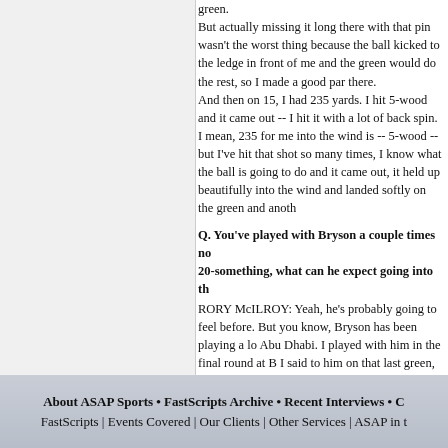green.
But actually missing it long there with that pin wasn't the worst thing because the ball kicked to the ledge in front of me and the green would do the rest, so I made a good par there.
And then on 15, I had 235 yards. I hit 5-wood and it came out -- I hit it with a lot of back spin. I mean, 235 for me into the wind is -- 5-wood -- but I've hit that shot so many times, I know what the ball is going to do and it came out, it held up beautifully into the wind and landed softly on the green and anoth
Q. You've played with Bryson a couple times now. As he starts his career as a 20-something, what can he expect going into th
RORY McILROY: Yeah, he's probably going to feel like he knows everything and he doesn't before. But you know, Bryson has been playing a lot of golf over the last wee while, specifically Abu Dhabi. I played with him in the final round at B I said to him on that last green, "If you keep playing like you do, you're going to be great." What he's doing today is-- he's playing very well. He's very analytical about the way he plays professional golf, and he's got a good head on his shoulders and seems to be very smart. I think he'll handle it very well.
Look, he's playing with Jordan the first two days and that's a great pairing, and there's no reason to think that he shouldn't do that over the longer term of his career. I'd love to see how he does, too, because he's a great talent and I've gotten to know him pretty well over the last few months and he's playing very well at the minute.
THE MODERATOR: Thanks very much, Rory.
FastScripts Transcript by ASAP Sports
About ASAP Sports • FastScripts Archive • Recent Interviews • C
FastScripts | Events Covered | Our Clients | Other Services | ASAP in t